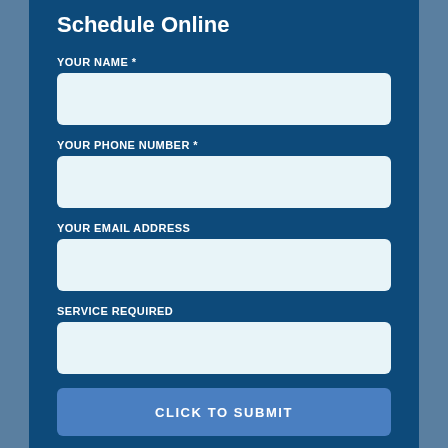Schedule Online
YOUR NAME *
YOUR PHONE NUMBER *
YOUR EMAIL ADDRESS
SERVICE REQUIRED
CLICK TO SUBMIT